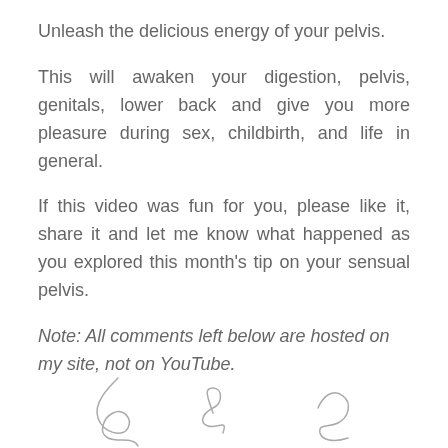Unleash the delicious energy of your pelvis.
This will awaken your digestion, pelvis, genitals, lower back and give you more pleasure during sex, childbirth, and life in general.
If this video was fun for you, please like it, share it and let me know what happened as you explored this month's tip on your sensual pelvis.
Note: All comments left below are hosted on my site, not on YouTube.
[Figure (illustration): Handwritten signature at the bottom of the page]